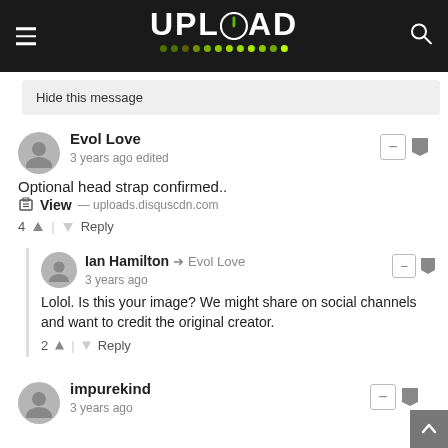UPLOAD
Hide this message
Evol Love
3 years ago edited
Optional head strap confirmed..
View — uploads.disquscdn.com
4 | Reply
Ian Hamilton → Evol Love
3 years ago
Lolol. Is this your image? We might share on social channels and want to credit the original creator.
2 | Reply
impurekind
3 years ago
For the average Switch owner I thinks this will be an